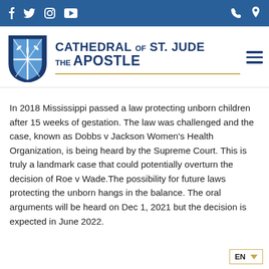Cathedral of St. Jude the Apostle — website header with navigation bar showing social media icons (Facebook, Twitter, Instagram, YouTube) and contact/location icons, logo with shield emblem, site name
In 2018 Mississippi passed a law protecting unborn children after 15 weeks of gestation. The law was challenged and the case, known as Dobbs v Jackson Women's Health Organization, is being heard by the Supreme Court. This is truly a landmark case that could potentially overturn the decision of Roe v Wade.The possibility for future laws protecting the unborn hangs in the balance. The oral arguments will be heard on Dec 1, 2021 but the decision is expected in June 2022.